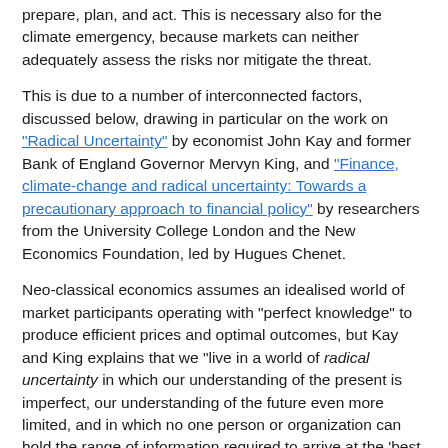prepare, plan, and act. This is necessary also for the climate emergency, because markets can neither adequately assess the risks nor mitigate the threat.
This is due to a number of interconnected factors, discussed below, drawing in particular on the work on "Radical Uncertainty" by economist John Kay and former Bank of England Governor Mervyn King, and "Finance, climate-change and radical uncertainty: Towards a precautionary approach to financial policy" by researchers from the University College London and the New Economics Foundation, led by Hugues Chenet.
Neo-classical economics assumes an idealised world of market participants operating with "perfect knowledge" to produce efficient prices and optimal outcomes, but Kay and King explains that we "live in a world of radical uncertainty in which our understanding of the present is imperfect, our understanding of the future even more limited, and in which no one person or organization can hold the range of information required to arrive at the 'best explanation'." When our world ends, they say, it will likely be "as a result of some contingency we have failed even to imagine", so "good